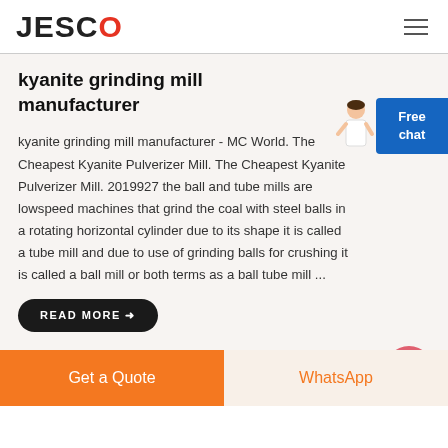JESCO
kyanite grinding mill manufacturer
kyanite grinding mill manufacturer - MC World. The Cheapest Kyanite Pulverizer Mill. The Cheapest Kyanite Pulverizer Mill. 2019927 the ball and tube mills are lowspeed machines that grind the coal with steel balls in a rotating horizontal cylinder due to its shape it is called a tube mill and due to use of grinding balls for crushing it is called a ball mill or both terms as a ball tube mill ...
[Figure (illustration): Person figure (customer service representative) next to a blue Free chat button]
READ MORE →
[Figure (other): Pink circular scroll-to-top button with upward chevron arrow]
Get a Quote  |  WhatsApp